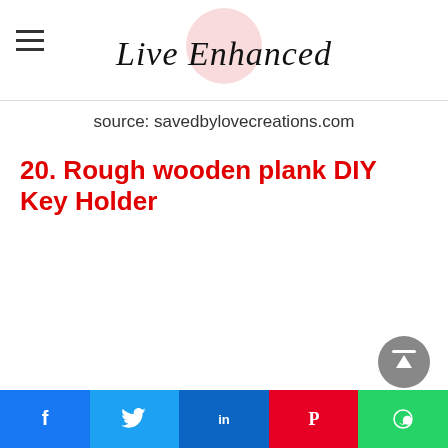Live Enhanced
source: savedbylovecreations.com
20. Rough wooden plank DIY Key Holder
Facebook Twitter LinkedIn Pinterest WhatsApp